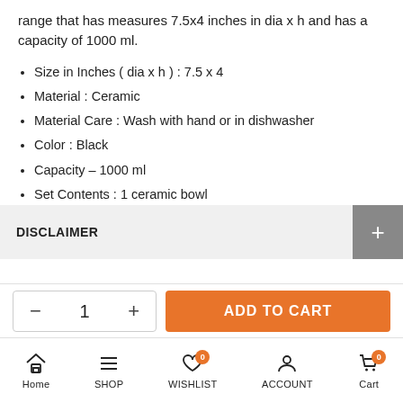range that has measures 7.5x4 inches in dia x h and has a capacity of 1000 ml.
Size in Inches ( dia x h ) : 7.5 x 4
Material : Ceramic
Material Care : Wash with hand or in dishwasher
Color : Black
Capacity – 1000 ml
Set Contents : 1 ceramic bowl
Microwave Safe : Yes
Dishwasher Safe : Yes
DISCLAIMER
ADD TO CART
Home | SHOP | WISHLIST | ACCOUNT | Cart